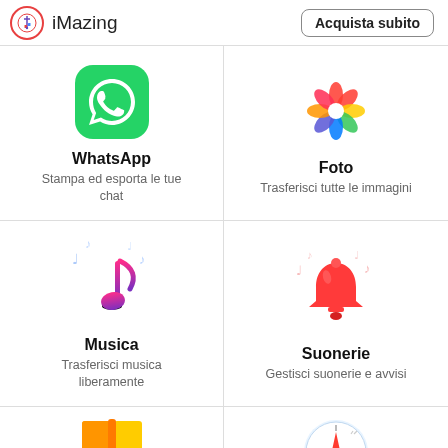iMazing  |  Acquista subito
[Figure (screenshot): iMazing app interface showing app icons grid: WhatsApp, Foto, Musica, Suonerie, and partial icons for books and compass]
WhatsApp
Stampa ed esporta le tue chat
Foto
Trasferisci tutte le immagini
Musica
Trasferisci musica liberamente
Suonerie
Gestisci suonerie e avvisi